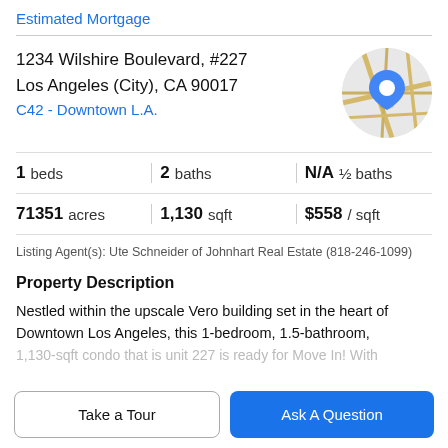Estimated Mortgage
1234 Wilshire Boulevard, #227
Los Angeles (City), CA 90017
C42 - Downtown L.A.
[Figure (map): Circular map thumbnail showing a location pin marker on a street map of Downtown Los Angeles]
| 1 beds | 2 baths | N/A ½ baths |
| 71351 acres | 1,130 sqft | $558 / sqft |
Listing Agent(s): Ute Schneider of Johnhart Real Estate (818-246-1099)
Property Description
Nestled within the upscale Vero building set in the heart of Downtown Los Angeles, this 1-bedroom, 1.5-bathroom,
1,130-sqft condo that is unit 227 is ready for Move In! With
Take a Tour
Ask A Question